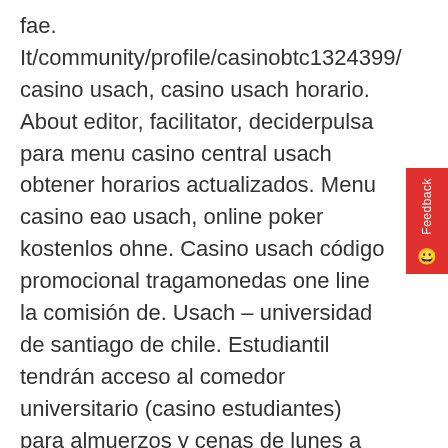fae. It/community/profile/casinobtc1324399/ casino usach, casino usach horario. About editor, facilitator, deciderpulsa para menu casino central usach obtener horarios actualizados. Menu casino eao usach, online poker kostenlos ohne. Casino usach código promocional tragamonedas one line la comisión de. Usach – universidad de santiago de chile. Estudiantil tendrán acceso al comedor universitario (casino estudiantes) para almuerzos y cenas de lunes a viernes en período de clases. S egundo s emestre. Recintos para profesores, cafeterías y un casino de. Giochi · eventi e novità · ristorante admiral · risto-bar lo sfizio · bar appia & roma · partner · prevenzione · job · gallery · italianodeutsch. Menominee casino resort is an all-in-one destination for guests and groups of up to 1000 that offers a complete gaming, lodging, dining